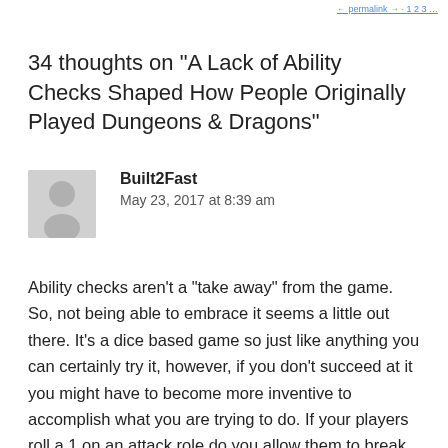← permalink → · 1 2 3 …
34 thoughts on “A Lack of Ability Checks Shaped How People Originally Played Dungeons & Dragons”
Built2Fast
May 23, 2017 at 8:39 am
Ability checks aren’t a “take away” from the game. So, not being able to embrace it seems a little out there. It’s a dice based game so just like anything you can certainly try it, however, if you don’t succeed at it you might have to become more inventive to accomplish what you are trying to do. If your players roll a 1 on an attack role do you allow them to break their arms or hack off a leg when they swing a battle axe? Probably not because with all things the rules engine is a “guide”. As a DM you own the game so do that…